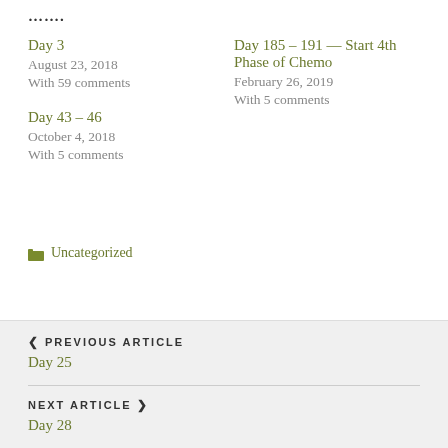…….
Day 3
August 23, 2018
With 59 comments
Day 185 – 191 — Start 4th Phase of Chemo
February 26, 2019
With 5 comments
Day 43 – 46
October 4, 2018
With 5 comments
Uncategorized
< PREVIOUS ARTICLE
Day 25
NEXT ARTICLE >
Day 28